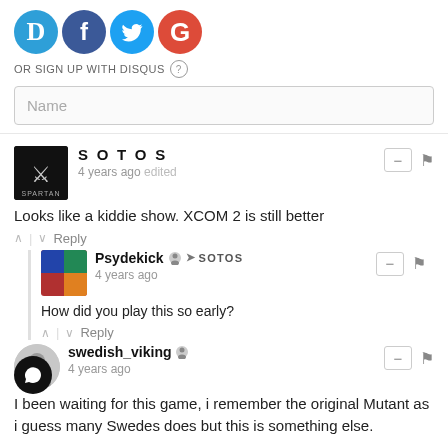[Figure (logo): Four social login icons: Disqus (blue D), Facebook (dark blue f), Twitter (light blue bird), Google (red G)]
OR SIGN UP WITH DISQUS ?
Name
SOTOS
4 years ago edited
Looks like a kiddie show. XCOM 2 is still better
Psydekick → SOTOS
4 years ago
How did you play this so early?
swedish_viking
4 years ago
I been waiting for this game, i remember the original Mutant as i guess many Swedes does but this is something else.